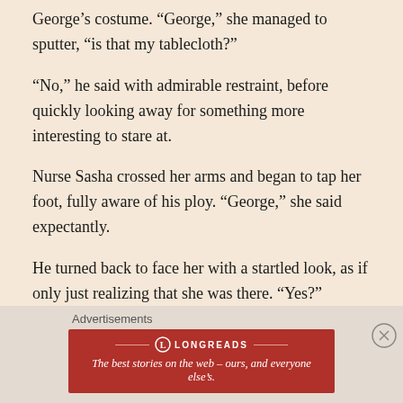George’s costume. “George,” she managed to sputter, “is that my tablecloth?”
“No,” he said with admirable restraint, before quickly looking away for something more interesting to stare at.
Nurse Sasha crossed her arms and began to tap her foot, fully aware of his ploy. “George,” she said expectantly.
He turned back to face her with a startled look, as if only just realizing that she was there. “Yes?”
“My whisk, if you please.”
Advertisements
[Figure (other): Longreads advertisement banner: The best stories on the web – ours, and everyone else’s.]